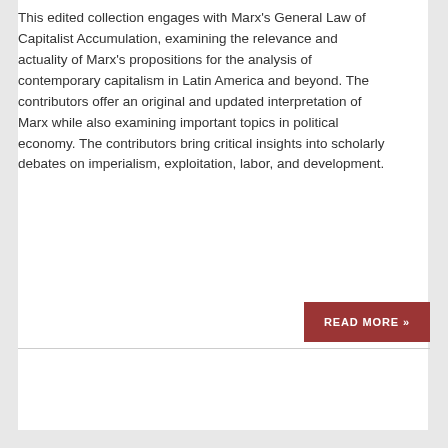This edited collection engages with Marx's General Law of Capitalist Accumulation, examining the relevance and actuality of Marx's propositions for the analysis of contemporary capitalism in Latin America and beyond. The contributors offer an original and updated interpretation of Marx while also examining important topics in political economy. The contributors bring critical insights into scholarly debates on imperialism, exploitation, labor, and development.
READ MORE »